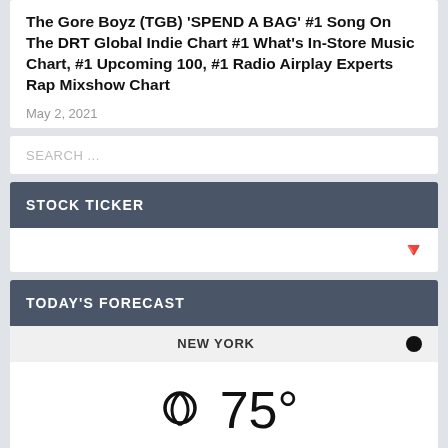The Gore Boyz (TGB) 'SPEND A BAG' #1 Song On The DRT Global Indie Chart #1 What's In-Store Music Chart, #1 Upcoming 100, #1 Radio Airplay Experts Rap Mixshow Chart
May 2, 2021
SEARCH ...
STOCK TICKER
[Figure (other): Stock ticker widget with orange/red down arrow icon]
TODAY'S FORECAST
NEW YORK
[Figure (other): Weather widget showing partly cloudy icon, temperature 75 degrees, condition: clear]